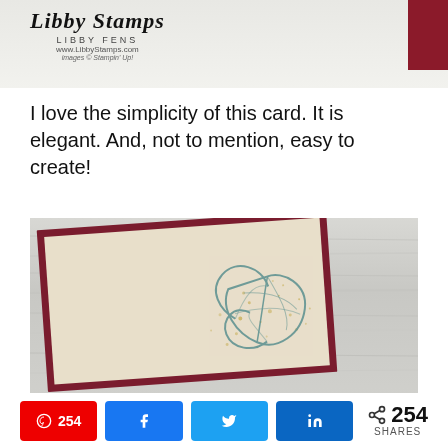[Figure (photo): Libby Stamps logo with script text, LIBBY FENS, www.LibbyStamps.com, images Stampin Up, on light grey background with dark red block on right]
I love the simplicity of this card. It is elegant. And, not to mention, easy to create!
[Figure (photo): Handmade greeting card on wood plank background: dark burgundy card frame with cream/tan inner layer, teal leaf stamp with gold speckle splatter design in lower right corner]
254 SHARES — Pinterest 254, Facebook share, Twitter share, LinkedIn share